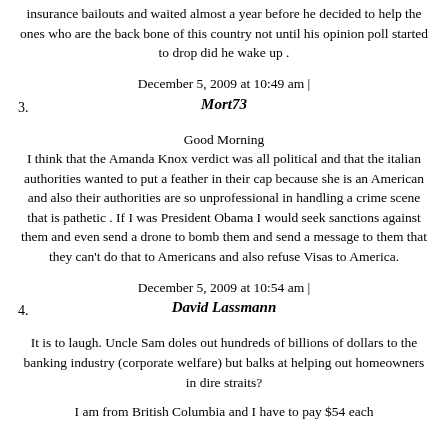insurance bailouts and waited almost a year before he decided to help the ones who are the back bone of this country not until his opinion poll started to drop did he wake up .
December 5, 2009 at 10:49 am |
3. Mort73
Good Morning
I think that the Amanda Knox verdict was all political and that the italian authorities wanted to put a feather in their cap because she is an American and also their authorities are so unprofessional in handling a crime scene that is pathetic . If I was President Obama I would seek sanctions against them and even send a drone to bomb them and send a message to them that they can't do that to Americans and also refuse Visas to America.
December 5, 2009 at 10:54 am |
4. David Lassmann
It is to laugh. Uncle Sam doles out hundreds of billions of dollars to the banking industry (corporate welfare) but balks at helping out homeowners in dire straits?
I am from British Columbia and I have to pay $54 each